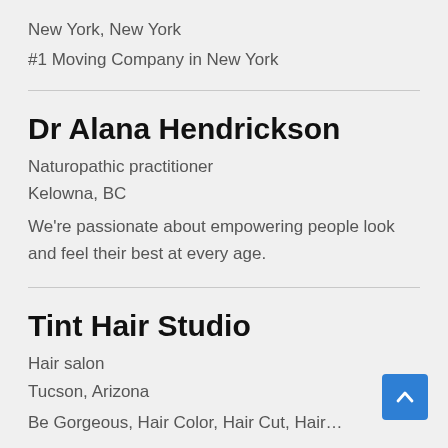New York, New York
#1 Moving Company in New York
Dr Alana Hendrickson
Naturopathic practitioner
Kelowna, BC
We're passionate about empowering people look and feel their best at every age.
Tint Hair Studio
Hair salon
Tucson, Arizona
Be Gorgeous, Hair Color, Hair Cut, Hair…